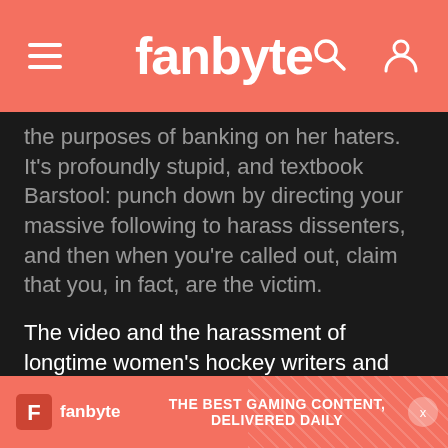fanbyte
the purposes of banking on her haters. It's profoundly stupid, and textbook Barstool: punch down by directing your massive following to harass dissenters, and then when you're called out, claim that you, in fact, are the victim.
The video and the harassment of longtime women's hockey writers and supporters that ensued prompted the league to officially denounce it, and Nardini's alleged desire to buy an NWHL team. That, of course, only fueled Barstool's fire. Now all of the
[Figure (other): Fanbyte advertisement banner: 'THE BEST GAMING CONTENT, DELIVERED DAILY' with fanbyte logo on coral/salmon background with decorative pattern and close button]